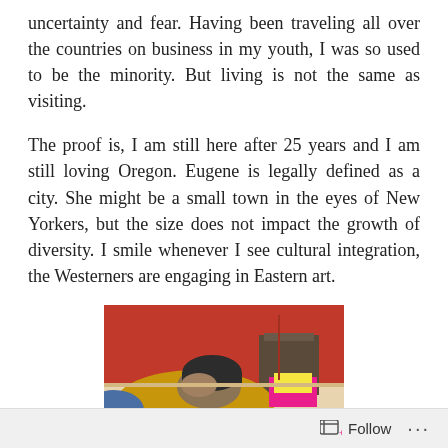uncertainty and fear. Having been traveling all over the countries on business in my youth, I was so used to be the minority. But living is not the same as visiting.
The proof is, I am still here after 25 years and I am still loving Oregon. Eugene is legally defined as a city. She might be a small town in the eyes of New Yorkers, but the size does not impact the growth of diversity. I smile whenever I see cultural integration, the Westerners are engaging in Eastern art.
[Figure (photo): A person resting their head on a desk or table, wearing a dark beanie hat and yellow/mustard top, with a bright pink/red object on the table. Red curtain visible in background.]
Follow ···